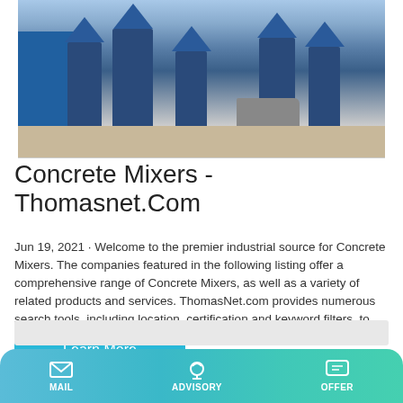[Figure (photo): Industrial concrete mixing plant with blue silos, concrete mixer trucks, and signage with Chinese characters]
Concrete Mixers - Thomasnet.Com
Jun 19, 2021 · Welcome to the premier industrial source for Concrete Mixers. The companies featured in the following listing offer a comprehensive range of Concrete Mixers, as well as a variety of related products and services. ThomasNet.com provides numerous search tools, including location, certification and keyword filters, to help you refine your results.
Learn More
MAIL   ADVISORY   OFFER